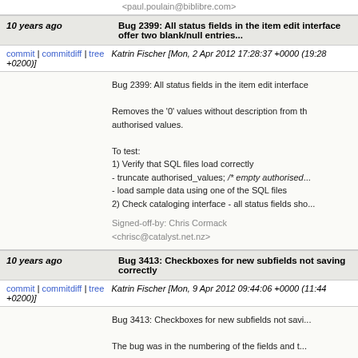Signed-off-by: Paul Poulain <paul.poulain@biblibre.com>
10 years ago   Bug 2399: All status fields in the item edit interface offer two blank/null entries...
commit | commitdiff | tree   Katrin Fischer [Mon, 2 Apr 2012 17:28:37 +0000 (19:28 +0200)]
Bug 2399: All status fields in the item edit interface

Removes the '0' values without description from the authorised values.

To test:
1) Verify that SQL files load correctly
- truncate authorised_values; /* empty authorised...
- load sample data using one of the SQL files
2) Check cataloging interface - all status fields sho...

Signed-off-by: Chris Cormack <chrisc@catalyst.net.nz>
10 years ago   Bug 3413: Checkboxes for new subfields not saving correctly
commit | commitdiff | tree   Katrin Fischer [Mon, 9 Apr 2012 09:44:06 +0000 (11:44 +0200)]
Bug 3413: Checkboxes for new subfields not savi...

The bug was in the numbering of the fields and t...